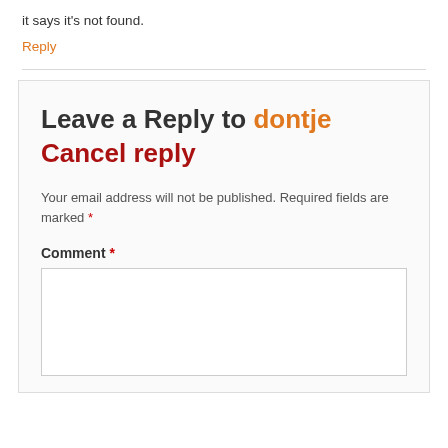it says it's not found.
Reply
Leave a Reply to dontje Cancel reply
Your email address will not be published. Required fields are marked *
Comment *